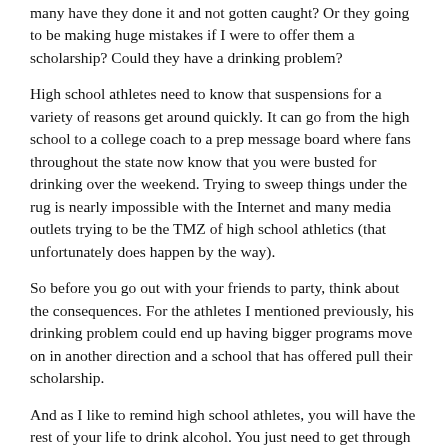many have they done it and not gotten caught?  Or they going to be making huge mistakes if I were to offer them a scholarship?  Could they have a drinking problem?
High school athletes need to know that suspensions for a variety of reasons get around quickly.  It can go from the high school to a college coach to a prep message board where fans throughout the state now know that you were busted for drinking over the weekend.  Trying to sweep things under the rug is nearly impossible with the Internet and many media outlets trying to be the TMZ of high school athletics (that unfortunately does happen by the way).
So before you go out with your friends to party, think about the consequences.  For the athletes I mentioned previously, his drinking problem could end up having bigger programs move on in another direction and a school that has offered pull their scholarship.
And as I like to remind high school athletes, you will have the rest of your life to drink alcohol.  You just need to get through high school and not let what you consider fun to sabotage any chance you have